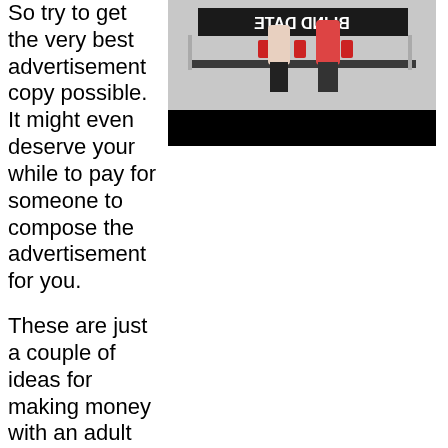So try to get the very best advertisement copy possible. It might even deserve your while to pay for someone to compose the advertisement for you.
[Figure (photo): A scene from what appears to be a TV show or advertisement featuring two people at a table with red cups, with mirrored text reading 'BLIND DATE' visible in the background.]
These are just a couple of ideas for making money with an adult business on